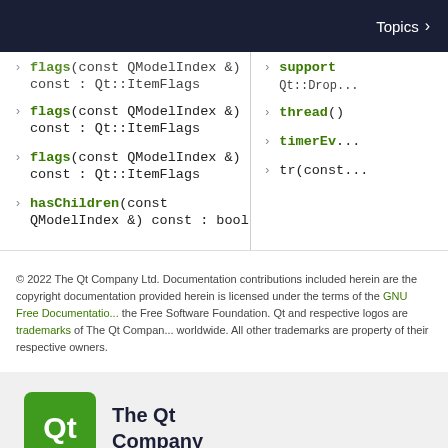Topics >
flags(const QModelIndex &) const : Qt::ItemFlags
flags(const QModelIndex &) const : Qt::ItemFlags
flags(const QModelIndex &) const : Qt::ItemFlags
hasChildren(const QModelIndex &) const : bool
suppo... Qt::Drop...
thread()
timerEv...
tr(const...
© 2022 The Qt Company Ltd. Documentation contributions included herein are the copyright documentation provided herein is licensed under the terms of the GNU Free Documentation the Free Software Foundation. Qt and respective logos are trademarks of The Qt Company worldwide. All other trademarks are property of their respective owners.
[Figure (logo): The Qt Company logo — green rounded rectangle with white Qt text, followed by 'The Qt Company' text]
[Figure (infographic): Social media icons in green: Facebook, Twitter, YouTube, LinkedIn]